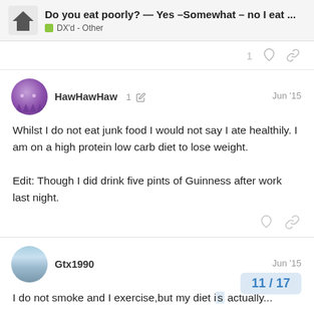Do you eat poorly? — Yes –Somewhat – no I eat ... | DX'd - Other
1
HawHawHaw  1  Jun '15
Whilst I do not eat junk food I would not say I ate healthily. I am on a high protein low carb diet to lose weight.

Edit: Though I did drink five pints of Guinness after work last night.
Gtx1990  Jun '15
I do not smoke and I exercise,but my diet i actually...
11 / 17